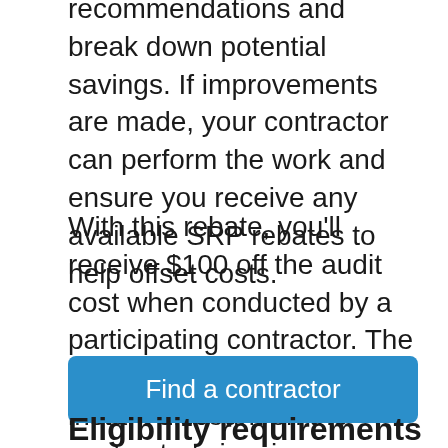recommendations and break down potential savings. If improvements are made, your contractor can perform the work and ensure you receive any available SRP rebates to help offset costs.
With this rebate, you'll receive $100 off the audit cost when conducted by a participating contractor. The rebate will be applied as an instant discount on the contractor's invoice.
Find a contractor
Eligibility requirements